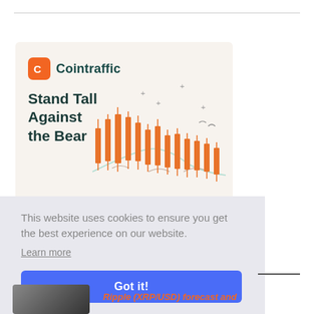[Figure (infographic): Cointraffic advertisement banner with logo, tagline 'Stand Tall Against the Bear', and a candlestick chart illustration on a cream/beige background]
This website uses cookies to ensure you get the best experience on our website.
Learn more
Got it!
Ripple (XRP/USD) forecast and